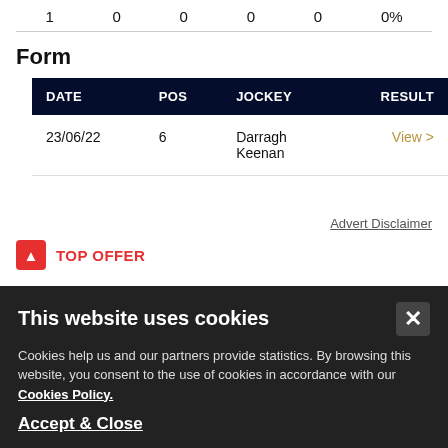| 1 | 0 | 0 | 0 | 0 | 0% |
Form
| DATE | POS | JOCKEY | RESULT |
| --- | --- | --- | --- |
| 23/06/22 | 6 | Darragh Keenan | View > |
Advert Disclaimer
TOP OFFER
This website uses cookies
Cookies help us and our partners provide statistics. By browsing this website, you consent to the use of cookies in accordance with our Cookies Policy.
Accept & Close